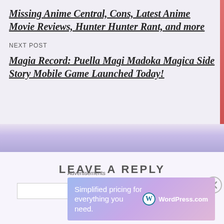Missing Anime Central, Cons, Latest Anime Movie Reviews, Hunter Hunter Rant, and more
NEXT POST
Magia Record: Puella Magi Madoka Magica Side Story Mobile Game Launched Today!
LEAVE A REPLY
[Figure (screenshot): WordPress.com advertisement banner: 'Simplified pricing for everything you need.' with WordPress.com logo]
Advertisements